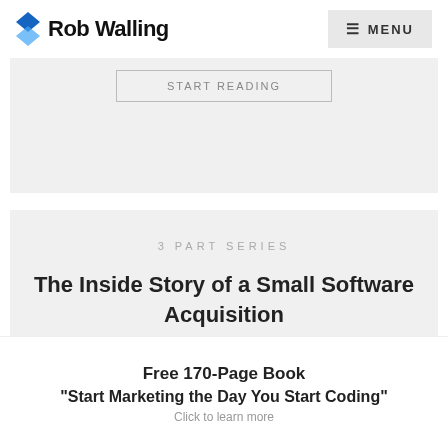Rob Walling  MENU
[Figure (screenshot): Partial card with a bordered button, light gray background]
3 PART SERIES
The Inside Story of a Small Software Acquisition
START READING
Free 170-Page Book
"Start Marketing the Day You Start Coding"
Click to learn more